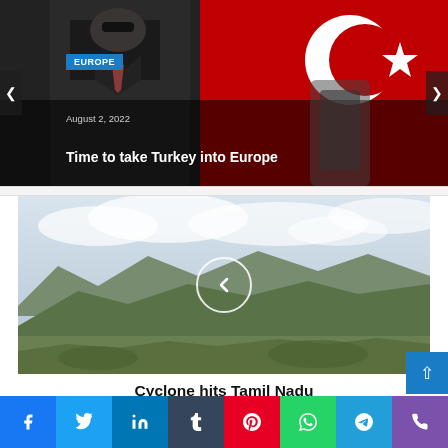[Figure (photo): Hero image: man in dark suit with sunglasses on left, Turkish flag red background on right, navigation arrows on sides]
EUROPE
August 2, 2022
Time to take Turkey into Europe
[Figure (photo): Aerial landscape photo of mountains with cloudy sky, with a circular left-arrow navigation button overlaid in center]
Cyclone hits Tamil Nadu
[Figure (infographic): Social media share buttons bar: Facebook (blue), Twitter (light blue), LinkedIn (dark blue), Tumblr (dark blue), Pinterest (red), WhatsApp (green), Telegram (blue), Phone (purple)]